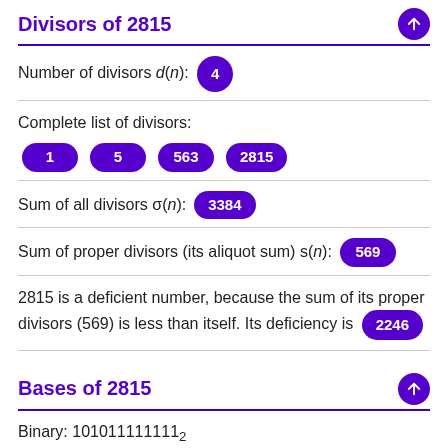Divisors of 2815
Number of divisors d(n): 4
Complete list of divisors: 1, 5, 563, 2815
Sum of all divisors σ(n): 3384
Sum of proper divisors (its aliquot sum) s(n): 569
2815 is a deficient number, because the sum of its proper divisors (569) is less than itself. Its deficiency is 2246
Bases of 2815
Binary: 101011111111₂